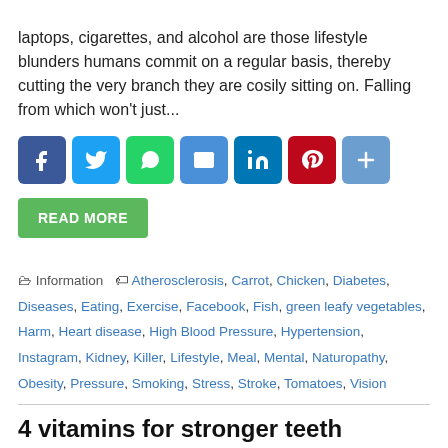laptops, cigarettes, and alcohol are those lifestyle blunders humans commit on a regular basis, thereby cutting the very branch they are cosily sitting on. Falling from which won't just...
[Figure (infographic): Social sharing buttons: Facebook (blue), Twitter (light blue), WhatsApp (green), Email (blue), LinkedIn (blue), Pinterest (dark red), Share (light blue)]
READ MORE
Information   Atherosclerosis, Carrot, Chicken, Diabetes, Diseases, Eating, Exercise, Facebook, Fish, green leafy vegetables, Harm, Heart disease, High Blood Pressure, Hypertension, Instagram, Kidney, Killer, Lifestyle, Meal, Mental, Naturopathy, Obesity, Pressure, Smoking, Stress, Stroke, Tomatoes, Vision
4 vitamins for stronger teeth
December 3, 2017   Urbanatural
[Figure (photo): Close-up photo of a person's teeth/mouth (pink/skin tones)]
SINGAPORE: Your diet not your toothpaste